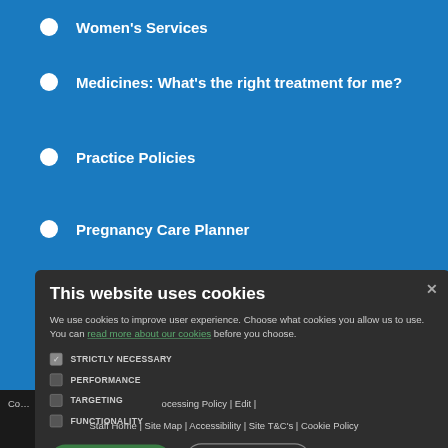Women's Services
Medicines: What's the right treatment for me?
Practice Policies
Pregnancy Care Planner
This website uses cookies
We use cookies to improve user experience. Choose what cookies you allow us to use. You can read more about our cookies before you choose.
STRICTLY NECESSARY
PERFORMANCE
TARGETING
FUNCTIONALITY
ACCEPT ALL
DECLINE ALL
Co... ocessing Policy | Edit |
Staff Home | Site Map | Accessibility | Site T&C's | Cookie Policy